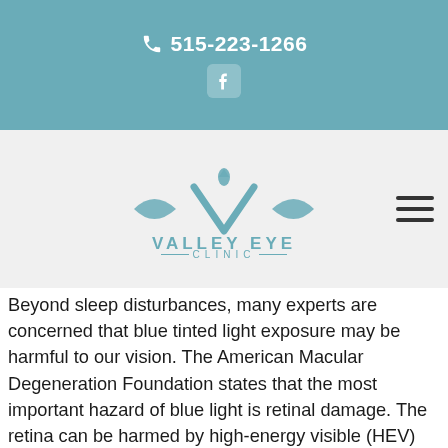📞 515-223-1266
[Figure (logo): Valley Eye Clinic logo with stylized eye/V graphic and text 'VALLEY EYE CLINIC']
Beyond sleep disturbances, many experts are concerned that blue tinted light exposure may be harmful to our vision. The American Macular Degeneration Foundation states that the most important hazard of blue light is retinal damage. The retina can be harmed by high-energy visible (HEV) radiation of blue/violet light that penetrates the macular pigment found in the eye, and the amount of retinal damage varies based on the wavelength of light, intensity, and time of exposure. It's not clear how much blue light from screens can cause harm to the eyes. CFL lightbulbs emit much more blue light than the screen